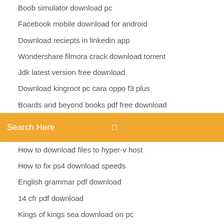Boob simulator download pc
Facebook mobile download for android
Download reciepts in linkedin app
Wondershare filmora crack download torrent
Jdk latest version free download
Download kingroot pc cara oppo f3 plus
Boards and beyond books pdf free download
[Figure (screenshot): Orange search bar with text 'Search Here' and a small icon on the right]
How to download files to hyper-v host
How to fix ps4 download speeds
English grammar pdf download
14 cfr pdf download
Kings of kings sea download on pc
Clinically oriented anatomy 8th edition pdf free download
Bulk download files from csv
Can i download slither io
Maniac magee pdf free download
Free android icon packs download